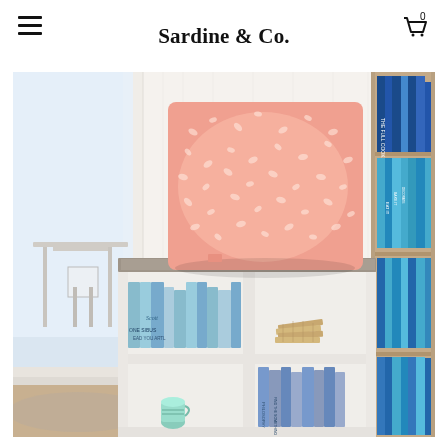Sardine & Co.
[Figure (photo): A salmon/peach colored throw pillow with a small floral/leaf pattern sitting on top of a white cube bookshelf. The bookshelf contains books and small decorative items. To the right is a tall wooden bookshelf filled with blue-spined books. In the background on the left is a bright room with a white table and chairs.]